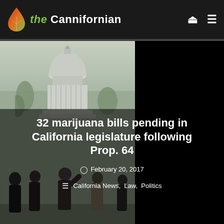the Cannifornian
[Figure (photo): Photo of the California State Capitol building with people in the foreground, partially obscured, gray sky background. Right portion of image is black.]
32 marijuana bills pending in California legislature following Prop. 64
February 20, 2017
California News, Law, Politics